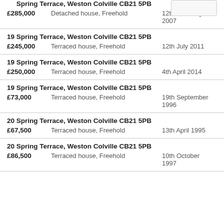[partial address] Spring Terrace, Weston Colville CB21 5PB
£285,000   Detached house, Freehold   12th February 2007
19 Spring Terrace, Weston Colville CB21 5PB
£245,000   Terraced house, Freehold   12th July 2011
19 Spring Terrace, Weston Colville CB21 5PB
£250,000   Terraced house, Freehold   4th April 2014
19 Spring Terrace, Weston Colville CB21 5PB
£73,000   Terraced house, Freehold   19th September 1996
20 Spring Terrace, Weston Colville CB21 5PB
£67,500   Terraced house, Freehold   13th April 1995
20 Spring Terrace, Weston Colville CB21 5PB
£86,500   Terraced house, Freehold   10th October 1997